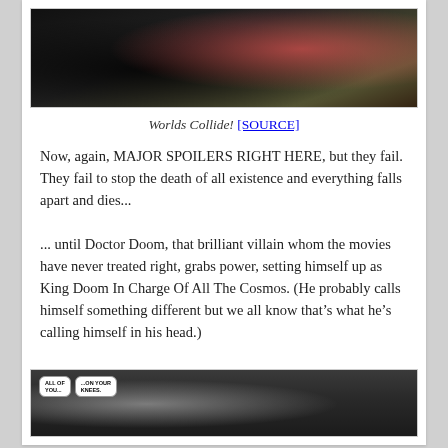[Figure (illustration): Comic book artwork showing dark action scene with characters in dramatic pose against dark background with red and purple tones]
Worlds Collide! [SOURCE]
Now, again, MAJOR SPOILERS RIGHT HERE, but they fail. They fail to stop the death of all existence and everything falls apart and dies...
... until Doctor Doom, that brilliant villain whom the movies have never treated right, grabs power, setting himself up as King Doom In Charge Of All The Cosmos. (He probably calls himself something different but we all know that’s what he’s calling himself in his head.)
[Figure (illustration): Comic panel showing Doctor Doom figure in dark hood/mask with speech bubbles reading 'ALL OF YOU...' and '...ON YOUR KNEES.']